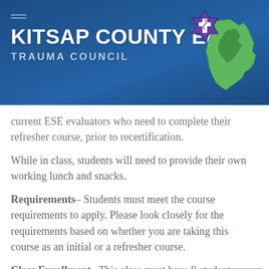[Figure (logo): Kitsap County EMS Trauma Council logo with star of life emblem and green map shape of Kitsap County]
current ESE evaluators who need to complete their refresher course, prior to recertification.
While in class, students will need to provide their own working lunch and snacks.
Requirements– Students must meet the course requirements to apply. Please look closely for the requirements based on whether you are taking this course as an initial or a refresher course.
Class Enrollment– This class must have 9 students enrolled at the time of the deadline to